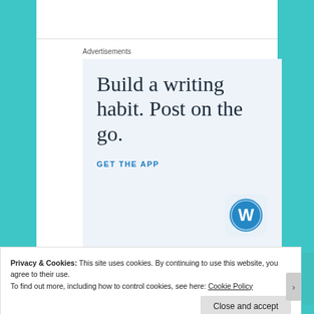Advertisements
[Figure (infographic): WordPress advertisement banner with light blue background showing the text 'Build a writing habit. Post on the go.' with a 'GET THE APP' call-to-action link and the WordPress circular logo in the bottom right corner.]
Privacy & Cookies: This site uses cookies. By continuing to use this website, you agree to their use.
To find out more, including how to control cookies, see here: Cookie Policy
Close and accept